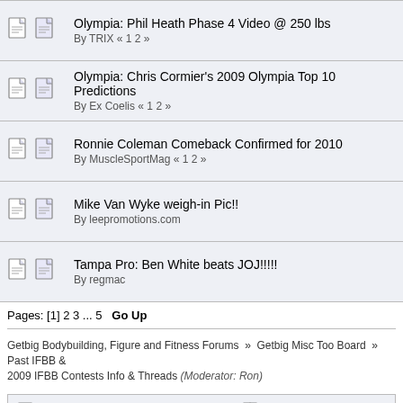Olympia: Phil Heath Phase 4 Video @ 250 lbs — By TRIX « 1 2 »
Olympia: Chris Cormier's 2009 Olympia Top 10 Predictions — By Ex Coelis « 1 2 »
Ronnie Coleman Comeback Confirmed for 2010 — By MuscleSportMag « 1 2 »
Mike Van Wyke weigh-in Pic!! — By leepromotions.com
Tampa Pro: Ben White beats JOJ!!!!! — By regmac
Pages: [1] 2 3 ... 5   Go Up
Getbig Bodybuilding, Figure and Fitness Forums » Getbig Misc Too Board » Past IFBB & 2009 IFBB Contests Info & Threads (Moderator: Ron)
Normal Topic | Hot Topic (More than 25 replies) | Very Hot Topic (More than 50 replies) | Locked Topic | Sticky Topic | Poll